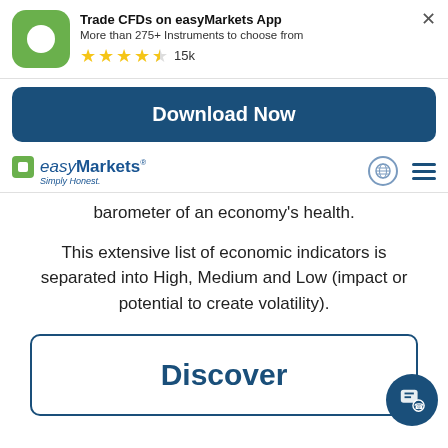[Figure (screenshot): easyMarkets app promotional banner with green icon, app title, subtitle, star rating, download button, and navigation bar]
barometer of an economy's health.
This extensive list of economic indicators is separated into High, Medium and Low (impact or potential to create volatility).
Discover